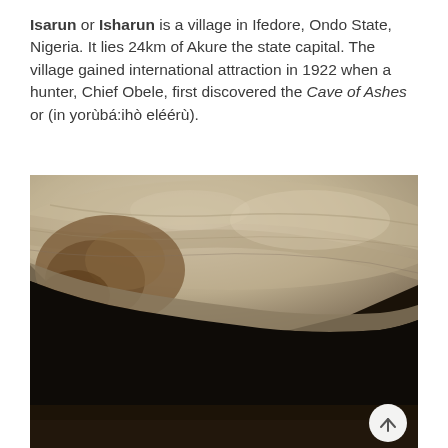Isarun or Isharun is a village in Ifedore, Ondo State, Nigeria. It lies 24km of Akure the state capital. The village gained international attraction in 1922 when a hunter, Chief Obele, first discovered the Cave of Ashes or (in yorùbá:ihò eléérù).
[Figure (photo): Interior view of a cave showing a large rocky overhang or ceiling with light-colored and brownish mineral deposits on the left, transitioning to dark shadowed cave interior on the right. The cave floor is dimly visible at the bottom.]